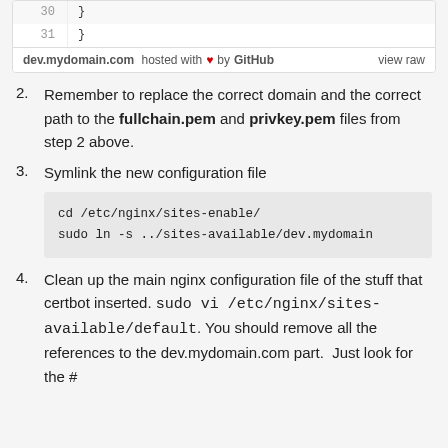[Figure (screenshot): GitHub Gist code block showing lines 30 and 31 with closing braces, and a footer reading 'dev.mydomain.com hosted with ♥ by GitHub  view raw']
Remember to replace the correct domain and the correct path to the fullchain.pem and privkey.pem files from step 2 above.
Symlink the new configuration file
Clean up the main nginx configuration file of the stuff that certbot inserted. sudo vi /etc/nginx/sites-available/default. You should remove all the references to the dev.mydomain.com part.  Just look for the #